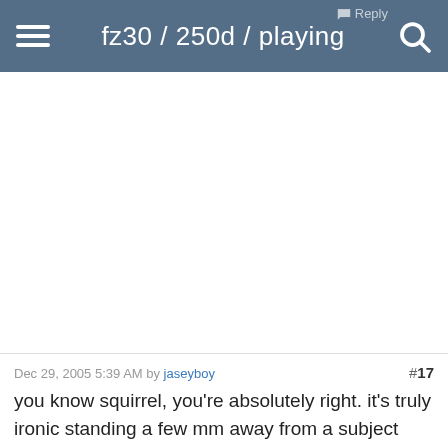fz30 / 250d / playing
[Figure (photo): Large white blank area representing an embedded image or advertisement placeholder]
Dec 29, 2005 5:39 AM by jaseyboy  #17
you know squirrel, you're absolutely right. it's truly ironic standing a few mm away from a subject with a 12x+ zoom camera in your hands.

but i was reading the latest edition of Digital Camera